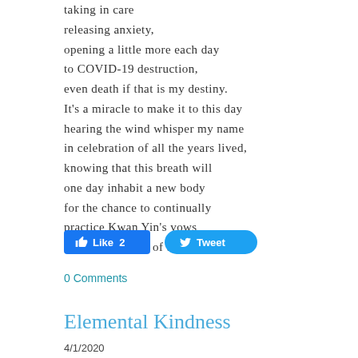taking in care
releasing anxiety,
opening a little more each day
to COVID-19 destruction,
even death if that is my destiny.
It's a miracle to make it to this day
hearing the wind whisper my name
in celebration of all the years lived,
knowing that this breath will
one day inhabit a new body
for the chance to continually
practice Kwan Yin's vows
hearing the cries of the world.
[Figure (other): Social sharing buttons: Facebook Like button showing count of 2, and Twitter Tweet button]
0 Comments
Elemental Kindness
4/1/2020